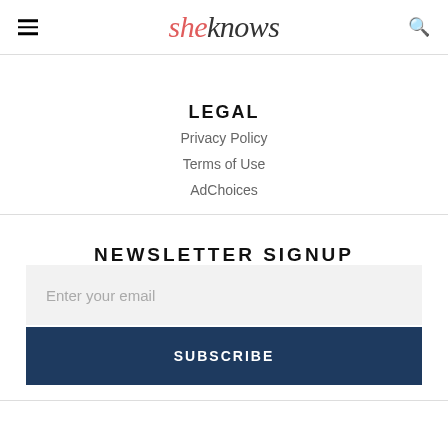sheknows
LEGAL
Privacy Policy
Terms of Use
AdChoices
NEWSLETTER SIGNUP
Enter your email
SUBSCRIBE